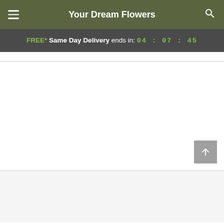Your Dream Flowers
FREE* Same Day Delivery ends in: 04 : 07 : 45
[Figure (screenshot): Blank white content area of a flower delivery website with a scroll-to-top button in the bottom right corner]